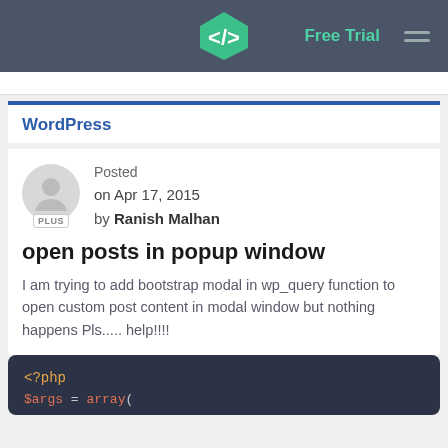Free Trial
WordPress
Posted on Apr 17, 2015 by Ranish Malhan
open posts in popup window
I am trying to add bootstrap modal in wp_query function to open custom post content in modal window but nothing happens Pls..... help!!!!
[Figure (screenshot): Code block showing beginning of PHP code: <?php and a partial second line starting with $args]